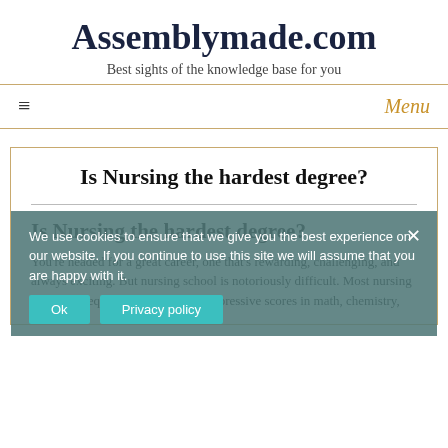Assemblymade.com
Best sights of the knowledge base for you
≡   Menu
Is Nursing the hardest degree?
Is Nursing the hardest degree?
You're headed for a great career, one that's rewarding, challenging, and always exciting. But nursing school is notoriously difficult. Most nursing programs require high GPAs and impressive scores in math, chemistry,
We use cookies to ensure that we give you the best experience on our website. If you continue to use this site we will assume that you are happy with it.